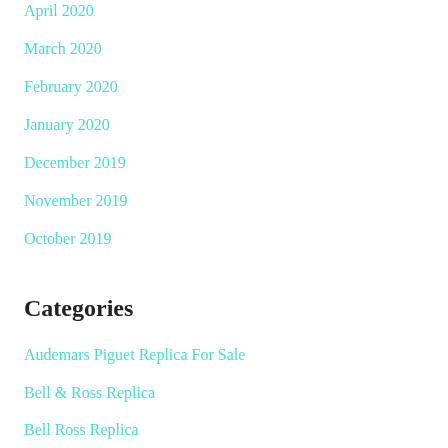April 2020
March 2020
February 2020
January 2020
December 2019
November 2019
October 2019
Categories
Audemars Piguet Replica For Sale
Bell & Ross Replica
Bell Ross Replica
Best Audemars Piguet Replica